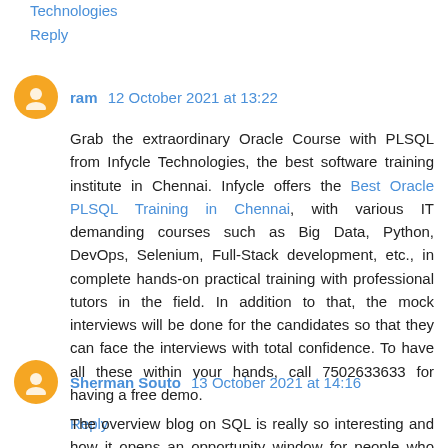Technologies
Reply
ram 12 October 2021 at 13:22
Grab the extraordinary Oracle Course with PLSQL from Infycle Technologies, the best software training institute in Chennai. Infycle offers the Best Oracle PLSQL Training in Chennai, with various IT demanding courses such as Big Data, Python, DevOps, Selenium, Full-Stack development, etc., in complete hands-on practical training with professional tutors in the field. In addition to that, the mock interviews will be done for the candidates so that they can face the interviews with total confidence. To have all these within your hands, call 7502633633 for having a free demo.
Reply
Sherman Souto 13 October 2021 at 14:16
The overview blog on SQL is really so interesting and how it opens an opportunity window for people who are